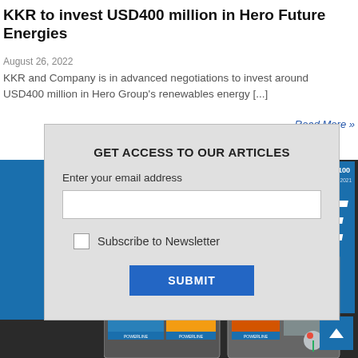KKR to invest USD400 million in Hero Future Energies
August 26, 2022
KKR and Company is in advanced negotiations to invest around USD400 million in Hero Group's renewables energy [...]
Read More »
[Figure (screenshot): Modal dialog popup with email access form for articles, containing heading 'GET ACCESS TO OUR ARTICLES', email input field, Subscribe to Newsletter checkbox, and SUBMIT button, overlaid on a webpage with dark background strip and magazine cover (showing 'NE' letters in white on blue). Bottom section shows a 25th anniversary collage of magazine covers.]
[Figure (illustration): 25th anniversary collage artwork with large '25' numerals filled with magazine cover images]